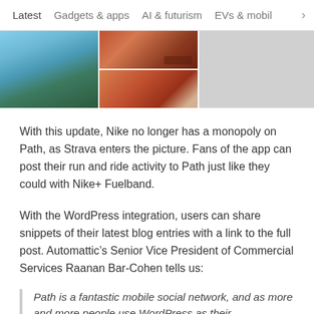Latest   Gadgets & apps   AI & futurism   EVs & mobil  >
[Figure (photo): Partial view of a photo strip showing mountain landscape on left and food photos in middle, with a light gray placeholder on right]
With this update, Nike no longer has a monopoly on Path, as Strava enters the picture. Fans of the app can post their run and ride activity to Path just like they could with Nike+ Fuelband.
With the WordPress integration, users can share snippets of their latest blog entries with a link to the full post. Automattic's Senior Vice President of Commercial Services Raanan Bar-Cohen tells us:
Path is a fantastic mobile social network, and as more and more people use WordPress as their